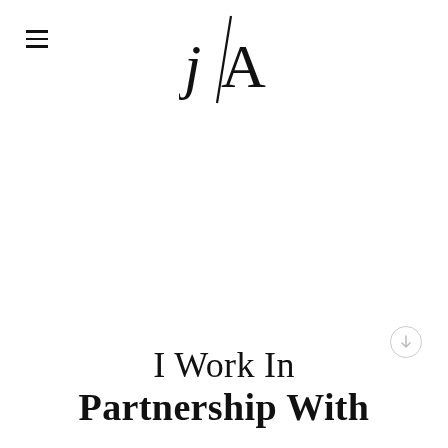[Figure (logo): JA monogram logo with a diagonal slash, black serif letters J and A on white background]
I Work In Partnership With